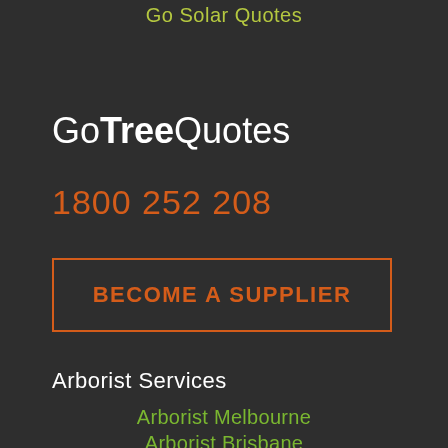Go Solar Quotes
GoTreeQuotes
1800 252 208
BECOME A SUPPLIER
Arborist Services
Arborist Melbourne
Arborist Brisbane
Arborist Adelaide
Arborist Perth
Arborist Sydney